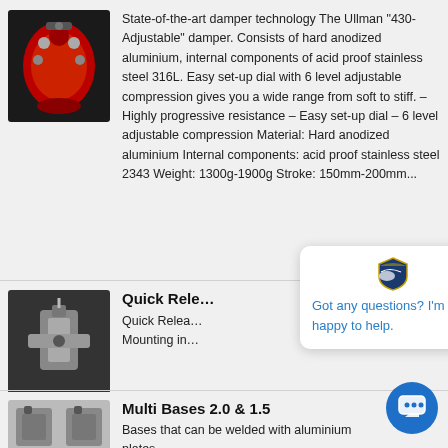[Figure (photo): Red damper component, hard anodized aluminium cylinder with adjustment dial]
State-of-the-art damper technology The Ullman "430-Adjustable" damper. Consists of hard anodized aluminium, internal components of acid proof stainless steel 316L. Easy set-up dial with 6 level adjustable compression gives you a wide range from soft to stiff. – Highly progressive resistance – Easy set-up dial – 6 level adjustable compression Material: Hard anodized aluminium Internal components: acid proof stainless steel 2343 Weight: 1300g-1900g Stroke: 150mm-200mm...
[Figure (photo): Quick Release mounting hardware, metal clamp/bracket on dark background]
Quick Rele…
Quick Relea… Mounting in…
[Figure (screenshot): Chat popup widget with shield logo and text: Got any questions? I'm happy to help.]
[Figure (photo): Multi Bases 2.0 & 1.5 product image, black metal base components]
Multi Bases 2.0 & 1.5
Bases that can be welded with aluminium plates